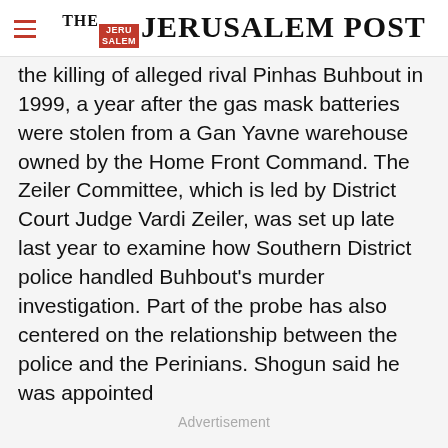THE JERUSALEM POST
the killing of alleged rival Pinhas Buhbout in 1999, a year after the gas mask batteries were stolen from a Gan Yavne warehouse owned by the Home Front Command. The Zeiler Committee, which is led by District Court Judge Vardi Zeiler, was set up late last year to examine how Southern District police handled Buhbout's murder investigation. Part of the probe has also centered on the relationship between the police and the Perinians. Shogun said he was appointed
Advertisement